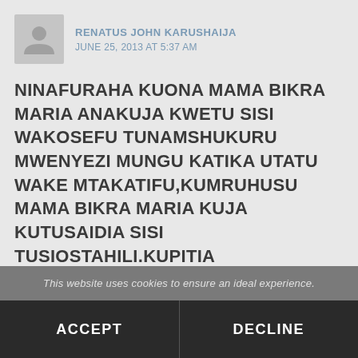RENATUS JOHN KARUSHAIJA
JUNE 25, 2013 AT 5:37 AM
NINAFURAHA KUONA MAMA BIKRA MARIA ANAKUJA KWETU SISI WAKOSEFU TUNAMSHUKURU MWENYEZI MUNGU KATIKA UTATU WAKE MTAKATIFU,KUMRUHUSU MAMA BIKRA MARIA KUJA KUTUSAIDIA SISI TUSIOSTAHILI.KUPITIA WATENDAKAZI WAKE MBALI MBALI NCHINI.PILI NAMSHUKURU MAMA BIKRA MARIA KWA KUKUBALI KUTUSADIA SISI VIUMBE DHAIFU BILA KUKATA TAMAHA.TATU NAWASHUKURU NYOTE MNAO ENEZA UJUMBE
This website uses cookies to ensure an ideal experience.
ACCEPT
DECLINE